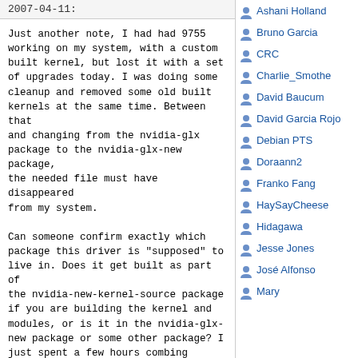2007-04-11:
Just another note, I had had 9755 working on my system, with a custom built kernel, but lost it with a set of upgrades today. I was doing some cleanup and removed some old built kernels at the same time. Between that and changing from the nvidia-glx package to the nvidia-glx-new package, the needed file must have disappeared from my system.

Can someone confirm exactly which package this driver is "supposed" to live in. Does it get built as part of the nvidia-new-kernel-source package if you are building the kernel and modules, or is it in the nvidia-glx-new package or some other package? I just spent a few hours combing through the packages from my cache that got removed and couldn't find it anywhere, but it must have been on my system, since I had that exact version of the driver (9755) running this morning.
Ashani Holland
Bruno Garcia
CRC
Charlie_Smothe
David Baucum
David Garcia Rojo
Debian PTS
Doraann2
Franko Fang
HaySayCheese
Hidagawa
Jesse Jones
José Alfonso
Mary